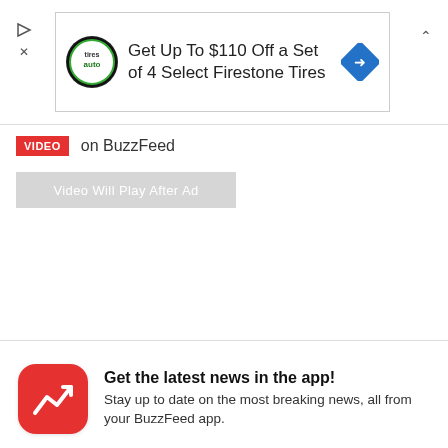[Figure (screenshot): Ad banner for Firestone Tires: 'Get Up To $110 Off a Set of 4 Select Firestone Tires' with Firestone auto logo and blue diamond navigation arrow icon. Play and close controls on left, chevron up on right.]
VIDEO on BuzzFeed
Video Will Play After Ad
Get the latest news in the app! Stay up to date on the most breaking news, all from your BuzzFeed app.
Maybe later
Get the app